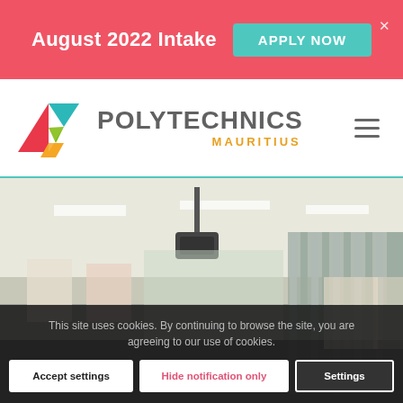August 2022 Intake  APPLY NOW
[Figure (logo): Polytechnics Mauritius logo with colorful triangular arrow icon and text POLYTECHNICS MAURITIUS]
[Figure (photo): Interior photo of a classroom or laboratory with ceiling-mounted projector, curtains, and display boards]
This site uses cookies. By continuing to browse the site, you are agreeing to our use of cookies.
Accept settings  Hide notification only  Settings